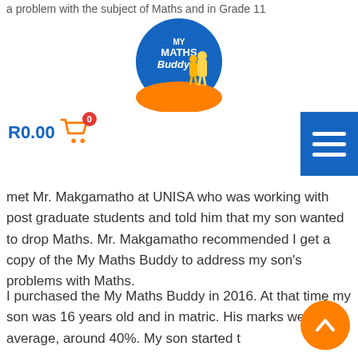a problem with the subject of Maths and in Grade 11
[Figure (logo): My Maths Buddy circular logo with blue background and orange bottom]
R0.00 (cart with 0 items)
met Mr. Makgamatho at UNISA who was working with post graduate students and told him that my son wanted to drop Maths. Mr. Makgamatho recommended I get a copy of the My Maths Buddy to address my son’s problems with Maths.
I purchased the My Maths Buddy in 2016. At that time my son was 16 years old and in matric. His marks were still average, around 40%. My son started the book immediately.